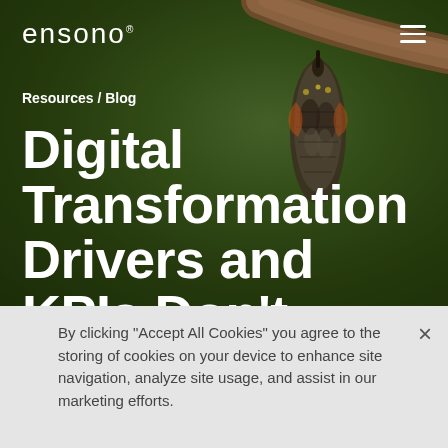ensono
Resources / Blog
Digital Transformation Drivers and KPIs Don't Stack Up
[Figure (photo): Close-up photograph of a monarch butterfly chrysalis hanging from a branch, set against a blurred green bokeh background]
By clicking “Accept All Cookies” you agree to the storing of cookies on your device to enhance site navigation, analyze site usage, and assist in our marketing efforts.